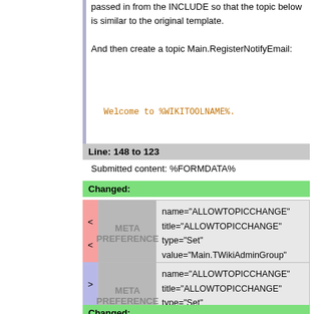passed in from the INCLUDE so that the topic below is similar to the original template.

And then create a topic Main.RegisterNotifyEmail:
Welcome to %WIKITOOLNAME%.
Line: 148 to 123
Submitted content: %FORMDATA%
Changed:
< < META PREFERENCE name="ALLOWTOPICCHANGE" title="ALLOWTOPICCHANGE" type="Set" value="Main.TWikiAdminGroup"
> > META PREFERENCE name="ALLOWTOPICCHANGE" title="ALLOWTOPICCHANGE" type="Set" value="Main.TWikiAdminGroup"
Changed: